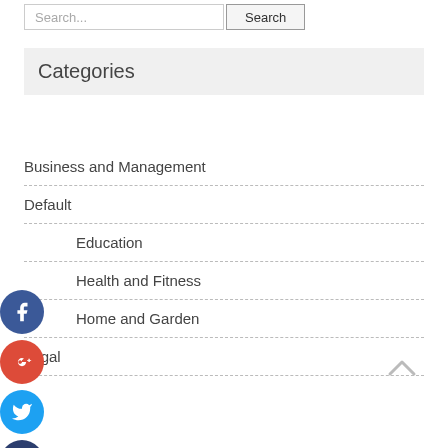Search...
Categories
Business and Management
Default
Education
Health and Fitness
Home and Garden
Legal